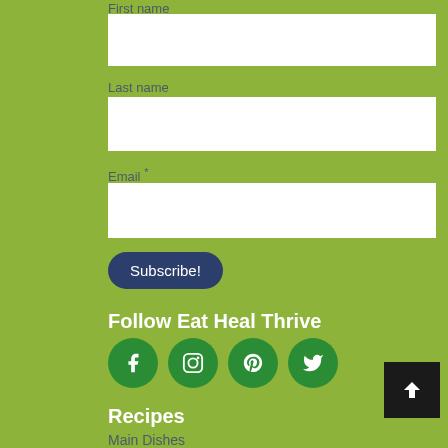First name
Last name
Email *
Subscribe!
Follow Eat Heal Thrive
[Figure (infographic): Four green circular social media icons: Facebook, Instagram, Pinterest, Twitter]
Recipes
Main Dishes
Side Dishes